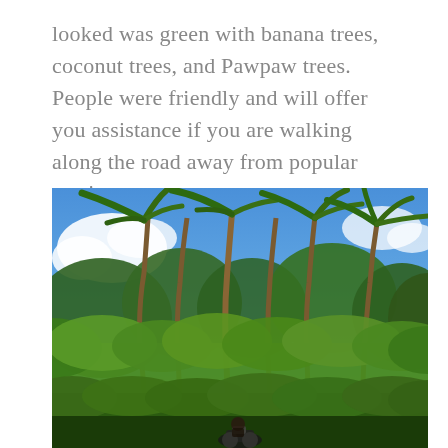looked was green with banana trees, coconut trees, and Pawpaw trees. People were friendly and will offer you assistance if you are walking along the road away from popular tourist areas.
[Figure (photo): Photograph of tall coconut palm trees rising above dense green tropical vegetation under a blue sky with white clouds. A person on a motorbike is visible at the bottom of the image among the lush greenery.]